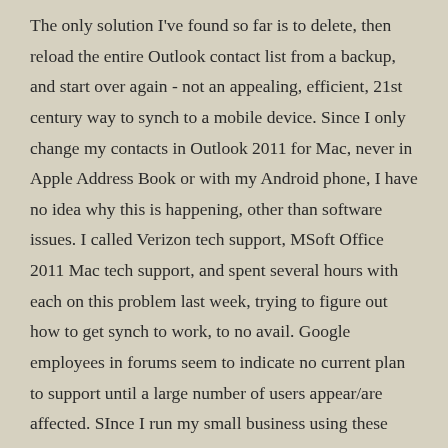The only solution I've found so far is to delete, then reload the entire Outlook contact list from a backup, and start over again - not an appealing, efficient, 21st century way to synch to a mobile device. Since I only change my contacts in Outlook 2011 for Mac, never in Apple Address Book or with my Android phone, I have no idea why this is happening, other than software issues. I called Verizon tech support, MSoft Office 2011 Mac tech support, and spent several hours with each on this problem last week, trying to figure out how to get synch to work, to no avail. Google employees in forums seem to indicate no current plan to support until a large number of users appear/are affected. SInce I run my small business using these tools with MAC, Office, and Android based smartphones, I cannot wait for them to fix this.
Sync Outlook for Mac 2011 and Outlook for Mac 2016 with Google, Gmail, and Google Apps accounts. Manage Contacts, Calendar, Tasks, Notes, and Categories on your Mac. Let CompanionLink automatically keep everything synchronized with Google and other accounts, phones,